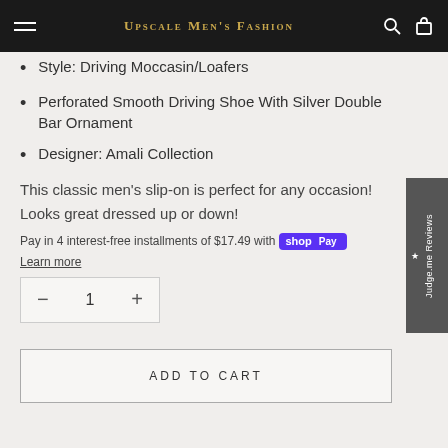Upscale Men's Fashion
Style: Driving Moccasin/Loafers
Perforated Smooth Driving Shoe With Silver Double Bar Ornament
Designer: Amali Collection
This classic men's slip-on is perfect for any occasion! Looks great dressed up or down!
Pay in 4 interest-free installments of $17.49 with shop Pay
Learn more
1
ADD TO CART